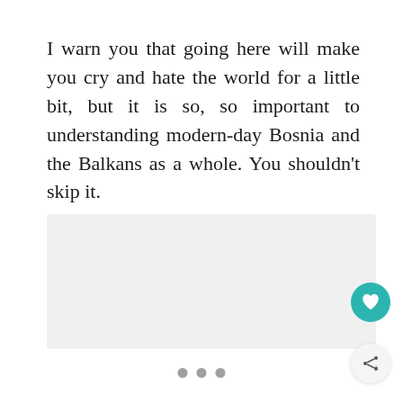I warn you that going here will make you cry and hate the world for a little bit, but it is so, so important to understanding modern-day Bosnia and the Balkans as a whole. You shouldn't skip it.
[Figure (photo): Light gray placeholder image area below the text block]